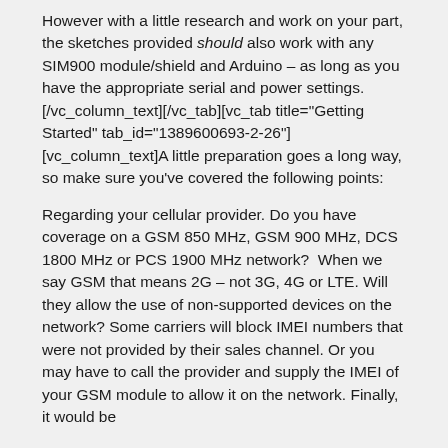However with a little research and work on your part, the sketches provided should also work with any SIM900 module/shield and Arduino – as long as you have the appropriate serial and power settings.[/vc_column_text][/vc_tab][vc_tab title="Getting Started" tab_id="1389600693-2-26"][vc_column_text]A little preparation goes a long way, so make sure you've covered the following points:
Regarding your cellular provider. Do you have coverage on a GSM 850 MHz, GSM 900 MHz, DCS 1800 MHz or PCS 1900 MHz network?  When we say GSM that means 2G – not 3G, 4G or LTE. Will they allow the use of non-supported devices on the network? Some carriers will block IMEI numbers that were not provided by their sales channel. Or you may have to call the provider and supply the IMEI of your GSM module to allow it on the network. Finally, it would be